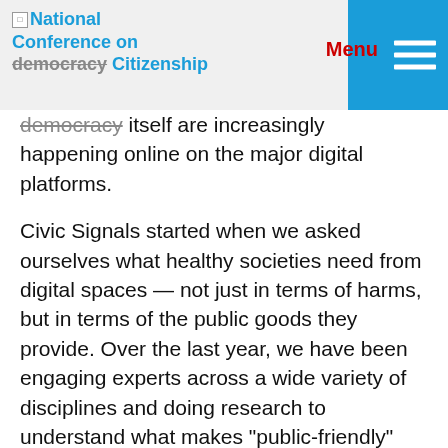National Conference on democracy Citizenship — Menu
democracy itself are increasingly happening online on the major digital platforms.
Civic Signals started when we asked ourselves what healthy societies need from digital spaces — not just in terms of harms, but in terms of the public goods they provide. Over the last year, we have been engaging experts across a wide variety of disciplines and doing research to understand what makes "public-friendly" spaces, well, public-friendly — what common characteristics (civic signals) are shared by the spaces that valorize the collective, and that are designed for the greater public good.
We think this matters both because these ideas could inform the design of existing digital platforms, but also perhaps more importantly because they could help inspire